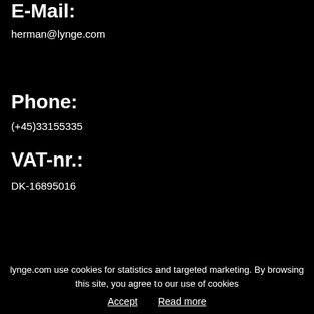E-Mail:
herman@lynge.com
Phone:
(+45)33155335
VAT-nr.:
DK-16895016
lynge.com use cookies for statistics and targeted marketing. By browsing this site, you agree to our use of cookies
Accept   Read more